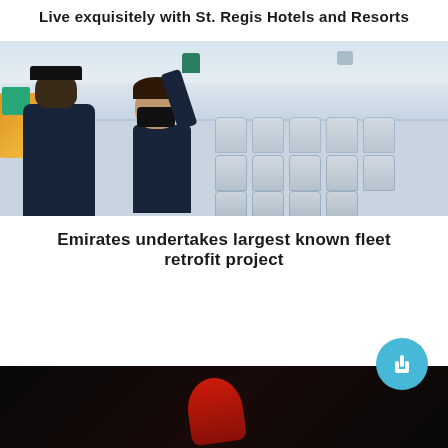Live exquisitely with St. Regis Hotels and Resorts
[Figure (photo): Interior of an aircraft cabin with two workers in dark uniforms cleaning or retrofitting the overhead bins area. One worker faces away from camera wearing a dark hat, the other faces camera wearing a black face mask and green gloves with arm raised. Multiple rows of light gray aircraft seats visible in the background.]
Emirates undertakes largest known fleet retrofit project
[Figure (photo): Dark image with a red element visible, partially shown at the bottom of the page. Background is very dark/black.]